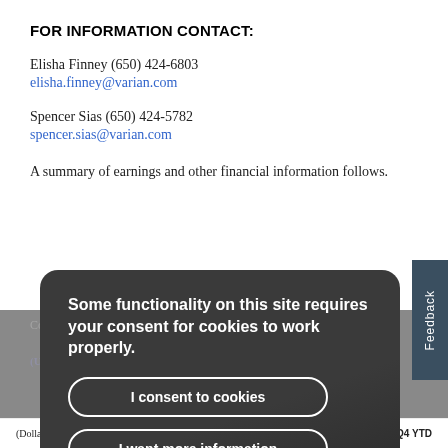FOR INFORMATION CONTACT:
Elisha Finney (650) 424-6803
elisha.finney@varian.com
Spencer Sias (650) 424-5782
spencer.sias@varian.com
A summary of earnings and other financial information follows.
Some functionality on this site requires your consent for cookies to work properly.
I consent to cookies
I want more information
(Dollars and shares in    Q4 QTR    Q4 QTR    Q4 YTD    Q4 YTD